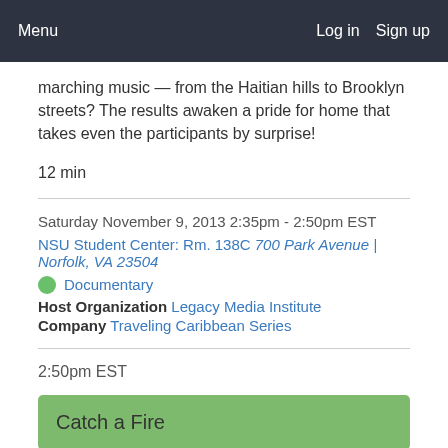Menu   Log in   Sign up
marching music — from the Haitian hills to Brooklyn streets? The results awaken a pride for home that takes even the participants by surprise!
12 min
Saturday November 9, 2013 2:35pm - 2:50pm EST
NSU Student Center: Rm. 138C 700 Park Avenue | Norfolk, VA 23504
Documentary
Host Organization Legacy Media Institute
Company Traveling Caribbean Series
2:50pm EST
Catch a Fire